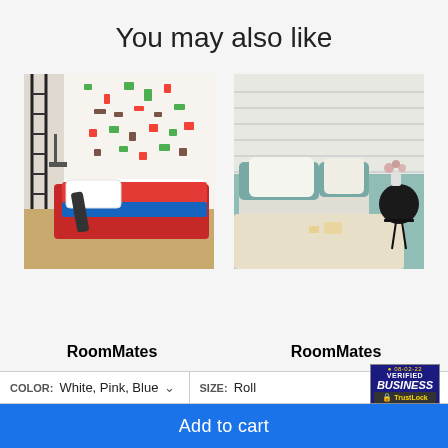You may also like
[Figure (photo): Bedroom with Mario-themed wall decals, red bed, skateboard, black metal loft ladder]
[Figure (photo): Modern minimalist bedroom with white shiplap walls, teal/blue bedding, white pillows, small black side table with flowers]
RoomMates
RoomMates
COLOR: White, Pink, Blue
SIZE: Roll
Add to cart